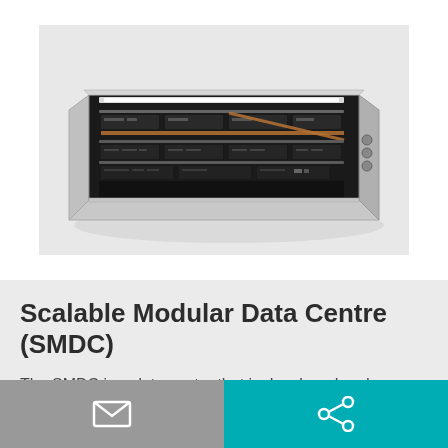[Figure (photo): Top-down perspective photo of an open Scalable Modular Data Centre (SMDC) hardware unit — a rectangular metal chassis with silver/grey exterior, open top revealing rows of black server modules, copper/orange cabling, and white LED lighting strips across the top interior. Small cylindrical connectors visible on the right side.]
Scalable Modular Data Centre (SMDC)
The SMDC is a data center that is developed and